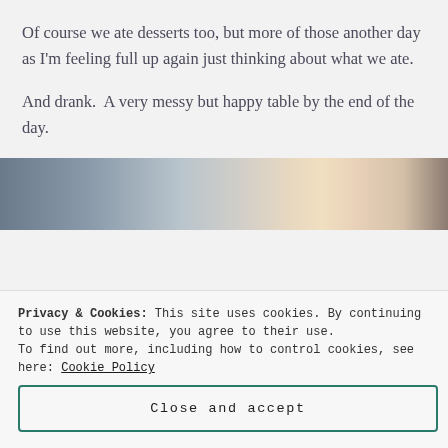Of course we ate desserts too, but more of those another day as I'm feeling full up again just thinking about what we ate.
And drank.  A very messy but happy table by the end of the day.
[Figure (photo): A photo of people at a table outdoors, slightly blurred with warm light in the background, taken at an angle.]
Privacy & Cookies: This site uses cookies. By continuing to use this website, you agree to their use.
To find out more, including how to control cookies, see here: Cookie Policy
Close and accept